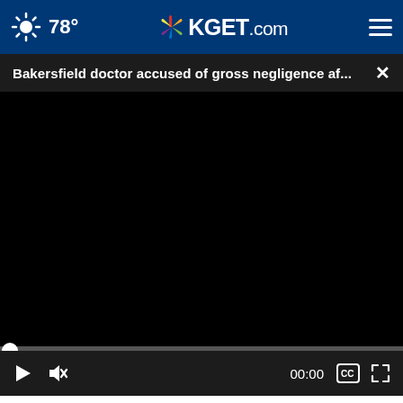78° KGET.com
Bakersfield doctor accused of gross negligence af... ×
[Figure (screenshot): Black video player area with video paused at 00:00, showing play button, mute button, timestamp 00:00, closed caption button, and fullscreen button on dark control bar. A progress bar with a white dot at the far left is shown above the controls.]
How likely, if at all, do you think it is that Miami Mayor Francis Suarez will ultimately decide to run for president in 2024?
TAKE THE 1-MINUTE RISK TEST TODAY.
DoIHavePrediabetes.org